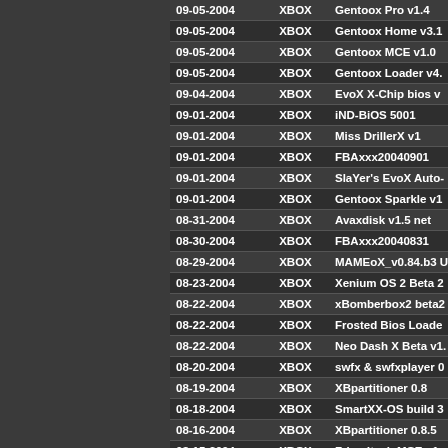| Date | Platform | Name |
| --- | --- | --- |
| 09-05-2004 | XBOX | Gentoox Pro v1.4 |
| 09-05-2004 | XBOX | Gentoox Home v3.1 |
| 09-05-2004 | XBOX | Gentoox MCE v1.0 |
| 09-05-2004 | XBOX | Gentoox Loader v4. |
| 09-04-2004 | XBOX | EvoX X-Chip bios v |
| 09-01-2004 | XBOX | iND-BiOS 5001 |
| 09-01-2004 | XBOX | Miss DrillerX v1 |
| 09-01-2004 | XBOX | FBAxxx20040901 |
| 09-01-2004 | XBOX | SlaYer's EvoX Auto- |
| 09-01-2004 | XBOX | Gentoox Sparkle v1 |
| 08-31-2004 | XBOX | Avaxdisk v1.5 net |
| 08-30-2004 | XBOX | FBAxxx20040831 |
| 08-29-2004 | XBOX | MAMEoX_v0.84.b3 U |
| 08-23-2004 | XBOX | Xenium OS 2 Beta 2 |
| 08-22-2004 | XBOX | xBomberbox2 beta2 |
| 08-22-2004 | XBOX | Frosted Bios Loade |
| 08-22-2004 | XBOX | Neo Dash X Beta v1. |
| 08-20-2004 | XBOX | swfx & swfxplayer 0 |
| 08-19-2004 | XBOX | XBpartitioner 0.8 |
| 08-18-2004 | XBOX | SmartXX-OS build 3 |
| 08-16-2004 | XBOX | XBpartitioner 0.8.5 |
| 08-15-2004 | XBOX | Friendtech MCE v1. |
| 08-13-2004 | XBOX | XBpartitioner 0.7 |